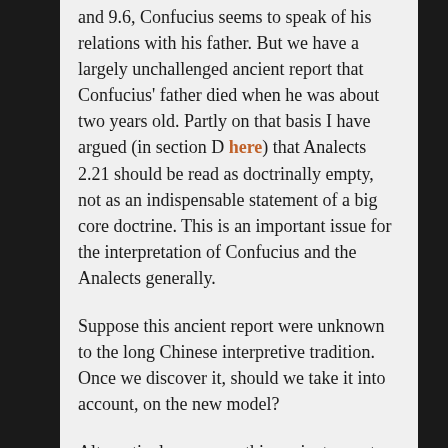and 9.6, Confucius seems to speak of his relations with his father. But we have a largely unchallenged ancient report that Confucius' father died when he was about two years old. Partly on that basis I have argued (in section D here) that Analects 2.21 should be read as doctrinally empty, not as an indispensable statement of a big core doctrine. This is an important issue for the interpretation of Confucius and the Analects generally.
Suppose this ancient report were unknown to the long Chinese interpretive tradition. Once we discover it, should we take it into account, on the new model?
Alternatively: suppose this ancient report was well known and unchallenged (as I imagine is the case), but that interpreters and commentators simply never mentioned it in connection with the explication of 2.21 or 9.6 (which I am mentioning as the new model says).